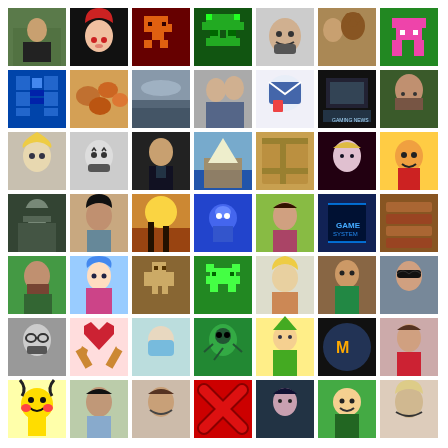[Figure (photo): Grid of 50 avatar/profile images arranged in a 7-column grid. Mix of real photos, pixel art game characters, anime illustrations, cartoon avatars, and app icons. Row 1: man at desk, anime girl red hair, pixel art orange game character, pixel art green game character, illustrated bearded man face, person with animal, pixel art pink robot. Row 2: pixel art blue robot, pastry/food photo, misty landscape, couple photo, email app icon, dark gaming screenshot, bearded man photo. Row 3: blonde woman, illustrated bearded man, suited man, tropical boat scene, wooden box, blonde woman pink lighting, cartoon character. Row 4: sci-fi soldier, young man photo, silhouettes sunset, blue cartoon character, woman outdoors, neon game logo, stacked bread/logs. Row 5: bearded man outdoors, blue anime girl, pixel art brown cross character, pixel art green invader, blonde woman, illustrated character, woman sunglasses. Row 6: illustrated man face, pixel heart hammers, masked person, green beetle, cartoon Link character, M logo game art, woman in red. Row 7: Pikachu, man photo, smiling man, red X mark, anime character, cartoon character green, smiling man. Row 8: pixel art game character.]